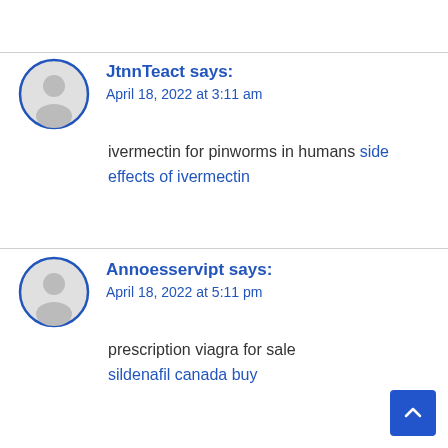JtnnTeact says: April 18, 2022 at 3:11 am
ivermectin for pinworms in humans side effects of ivermectin
Annoesservipt says: April 18, 2022 at 5:11 pm
prescription viagra for sale sildenafil canada buy